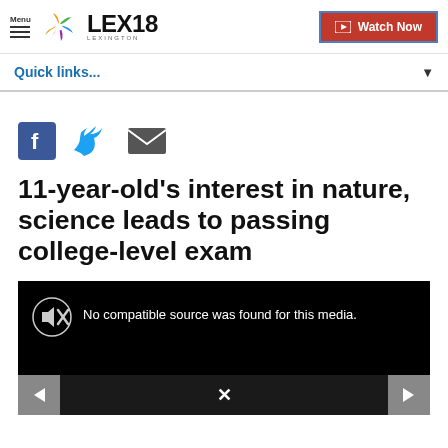Menu | LEX18 LEXINGTON | Watch Now
Quick links...
[Figure (infographic): Social sharing icons: Facebook (blue square with white f), Twitter (blue bird), Email (grey envelope)]
11-year-old's interest in nature, science leads to passing college-level exam
[Figure (screenshot): Video player showing black screen with muted speaker icon and text: No compatible source was found for this media. Navigation arrows on bottom left and right.]